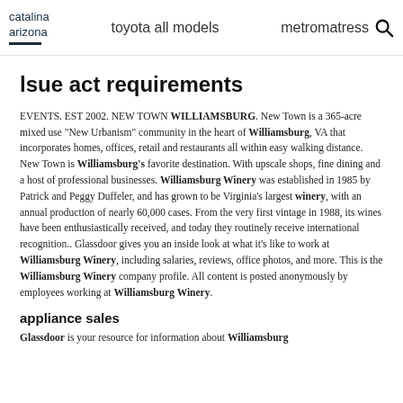catalina arizona | toyota all models | metromatress
lsue act requirements
EVENTS. EST 2002. NEW TOWN WILLIAMSBURG. New Town is a 365-acre mixed use "New Urbanism" community in the heart of Williamsburg, VA that incorporates homes, offices, retail and restaurants all within easy walking distance. New Town is Williamsburg's favorite destination. With upscale shops, fine dining and a host of professional businesses. Williamsburg Winery was established in 1985 by Patrick and Peggy Duffeler, and has grown to be Virginia's largest winery, with an annual production of nearly 60,000 cases. From the very first vintage in 1988, its wines have been enthusiastically received, and today they routinely receive international recognition.. Glassdoor gives you an inside look at what it's like to work at Williamsburg Winery, including salaries, reviews, office photos, and more. This is the Williamsburg Winery company profile. All content is posted anonymously by employees working at Williamsburg Winery.
appliance sales
Glassdoor is your resource for information about Williamsburg